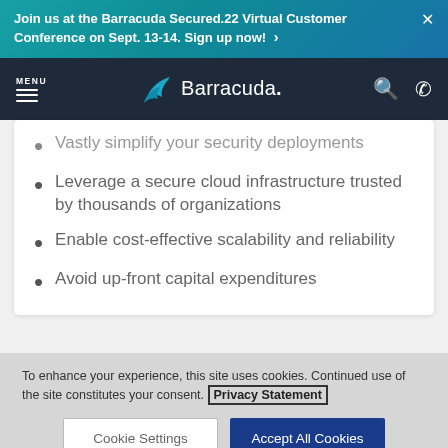Join us at the Barracuda Secured.22 Virtual Customer Conference on Sept. 13-14. Sign up now! ›
[Figure (logo): Barracuda Networks navigation bar with menu, shark-fin logo, search and phone icons]
Vastly simplify your security deployments
Leverage a secure cloud infrastructure trusted by thousands of organizations
Enable cost-effective scalability and reliability
Avoid up-front capital expenditures
To enhance your experience, this site uses cookies. Continued use of the site constitutes your consent. Privacy Statement
Cookie Settings | Accept All Cookies